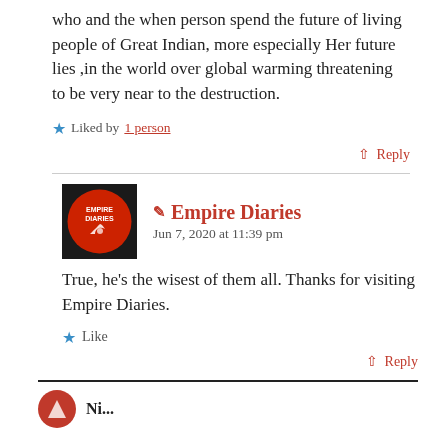who and the when person spend the future of living people of Great Indian, more especially Her future lies ,in the world over global warming threatening to be very near to the destruction.
★ Liked by 1 person
↑ Reply
✏ Empire Diaries
Jun 7, 2020 at 11:39 pm
True, he's the wisest of them all. Thanks for visiting Empire Diaries.
★ Like
↑ Reply